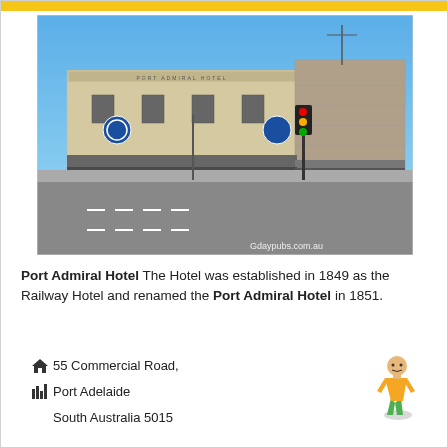[Figure (photo): Street-level photograph of the Port Admiral Hotel, a historic two-storey rendered masonry building on a corner, with a covered veranda, signage reading 'Port Admiral Hotel', and a blue sky background. Watermark: Gdaypubs.com.au]
Port Admiral Hotel The Hotel was established in 1849 as the Railway Hotel and renamed the Port Admiral Hotel in 1851.
55 Commercial Road, Port Adelaide South Australia 5015
[Figure (illustration): Google Maps pegman (yellow figure) illustration]